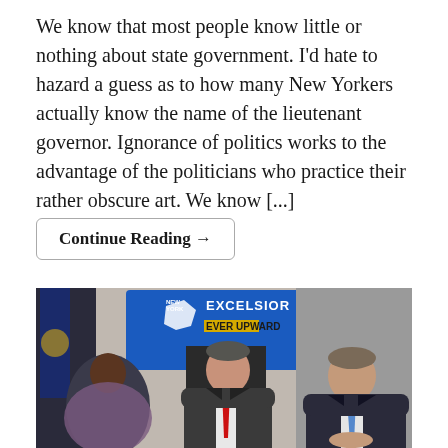We know that most people know little or nothing about state government. I'd hate to hazard a guess as to how many New Yorkers actually know the name of the lieutenant governor. Ignorance of politics works to the advantage of the politicians who practice their rather obscure art. We know [...]
Continue Reading →
[Figure (photo): Press conference photo showing three people seated at a table in front of a blue screen displaying 'NEW YORK EXCELSIOR EVER UPWARD' logo. A Black woman is on the left, a man in a suit with a red tie is in the center, and another man in a suit with a blue tie is on the right.]